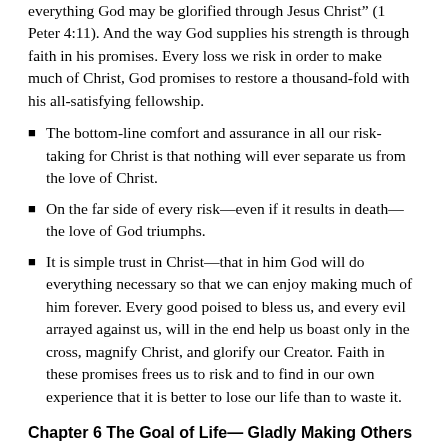everything God may be glorified through Jesus Christ” (1 Peter 4:11). And the way God supplies his strength is through faith in his promises. Every loss we risk in order to make much of Christ, God promises to restore a thousand-fold with his all-satisfying fellowship.
The bottom-line comfort and assurance in all our risk-taking for Christ is that nothing will ever separate us from the love of Christ.
On the far side of every risk—even if it results in death—the love of God triumphs.
It is simple trust in Christ—that in him God will do everything necessary so that we can enjoy making much of him forever. Every good poised to bless us, and every evil arrayed against us, will in the end help us boast only in the cross, magnify Christ, and glorify our Creator. Faith in these promises frees us to risk and to find in our own experience that it is better to lose our life than to waste it.
Chapter 6 The Goal of Life— Gladly Making Others Glad in God